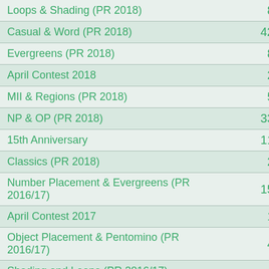| Name | Count |
| --- | --- |
| Loops & Shading (PR 2018) | 8 |
| Casual & Word (PR 2018) | 42 |
| Evergreens (PR 2018) | 8 |
| April Contest 2018 | 2 |
| MII & Regions (PR 2018) | 5 |
| NP & OP (PR 2018) | 33 |
| 15th Anniversary | 11 |
| Classics (PR 2018) | 2 |
| Number Placement & Evergreens (PR 2016/17) | 15 |
| April Contest 2017 | 1 |
| Object Placement & Pentomino (PR 2016/17) | 4 |
| Shading and Loops (PR 2016/17) | 4 |
| Snowmen | 12 |
| Classics & Regions (PR 2016/17) | 16 |
| Moscow Puzzle Cup 2016 | 9 |
| Kaleidoscope | 3 |
| Hex Slitherlink | 5 |
| April Contest 2016 | 1 |